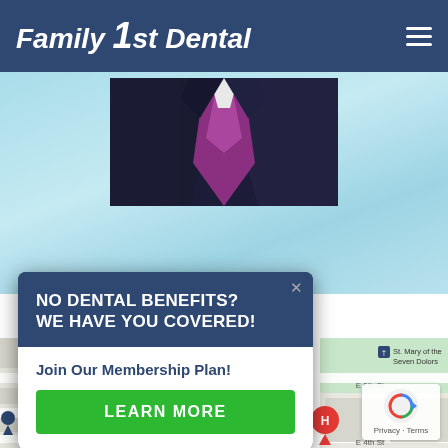Family 1st Dental
[Figure (photo): Photo of a person in a dark suit with a colorful tie, upper body visible, set against a light blue/teal background]
We can't wait to meet you! "
[Figure (screenshot): Popup overlay with dark blue header reading 'NO DENTAL BENEFITS? WE HAVE YOU COVERED!' and white body with 'Join Our Membership Plan!' text and green LEARN MORE button]
[Figure (map): Google Maps screenshot showing streets including E 5th St, E 4th St, W 4th St, with a red location pin marker and a label for St. Mary of the Seven Dolors]
Privacy · Terms